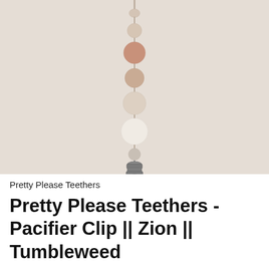[Figure (photo): A pacifier clip product photo showing a vertical strand of beads in varying sizes and earthy tones (dusty rose, tan, cream/white) connected by a cord, with a silver metal clip at the bottom, photographed against a warm beige/cream background.]
Pretty Please Teethers
Pretty Please Teethers - Pacifier Clip || Zion || Tumbleweed